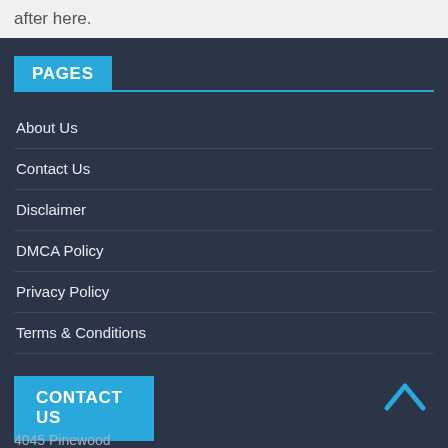after here.
PAGES
About Us
Contact Us
Disclaimer
DMCA Policy
Privacy Policy
Terms & Conditions
CONTACT US
4045 Pinewood